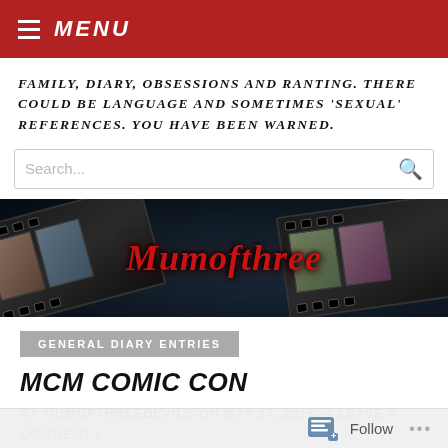MENU
FAMILY, DIARY, OBSESSIONS AND RANTING. THERE COULD BE LANGUAGE AND SOMETIMES 'SEXUAL' REFERENCES. YOU HAVE BEEN WARNED.
[Figure (screenshot): Search input box with red search icon]
[Figure (illustration): Blog hero banner with film strip imagery and red cursive 'Mumofthree' text on dark starry background]
GENERAL DIARY ENTRIES
MCM COMIC CON
BY MUMOFTHREEDEVILS ON MAY 27, 2016 · ( LEAVE A COMMENT )
Follow